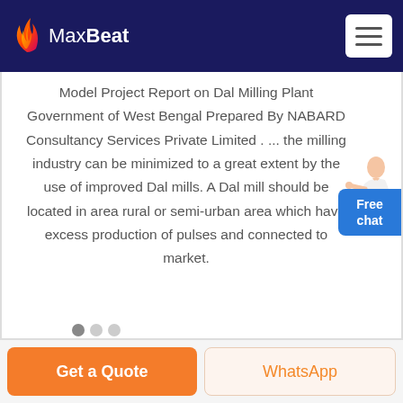[Figure (logo): MaxBeat logo with flame icon in header navigation bar]
Model Project Report on Dal Milling Plant Government of West Bengal Prepared By NABARD Consultancy Services Private Limited . ... the milling industry can be minimized to a great extent by the use of improved Dal mills. A Dal mill should be located in area rural or semi-urban area which have excess production of pulses and connected to market.
[Figure (illustration): Female assistant figure in white outfit pointing, next to a blue Free chat button widget]
Get a Quote
WhatsApp